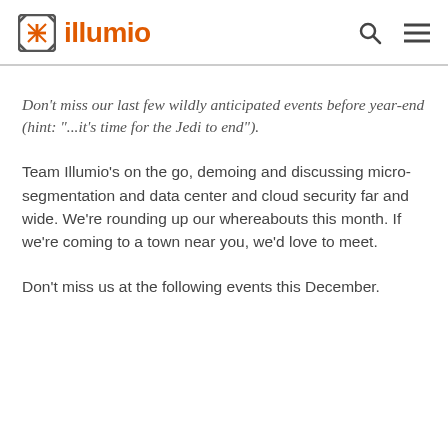illumio
Don't miss our last few wildly anticipated events before year-end (hint: "...it's time for the Jedi to end").
Team Illumio's on the go, demoing and discussing micro-segmentation and data center and cloud security far and wide. We're rounding up our whereabouts this month. If we're coming to a town near you, we'd love to meet.
Don't miss us at the following events this December.